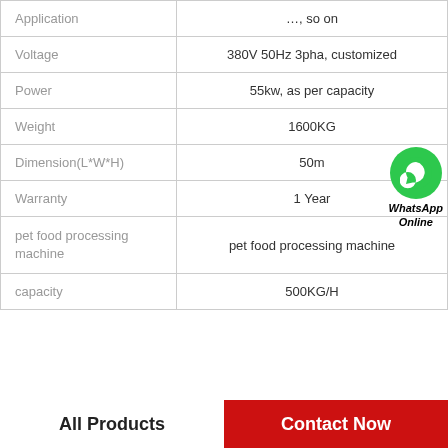|  |  |
| --- | --- |
| Application | …, so on |
| Voltage | 380V 50Hz 3pha, customized |
| Power | 55kw, as per capacity |
| Weight | 1600KG |
| Dimension(L*W*H) | 50m |
| Warranty | 1 Year |
| pet food processing machine | pet food processing machine |
| capacity | 500KG/H |
All Products  |  Contact Now